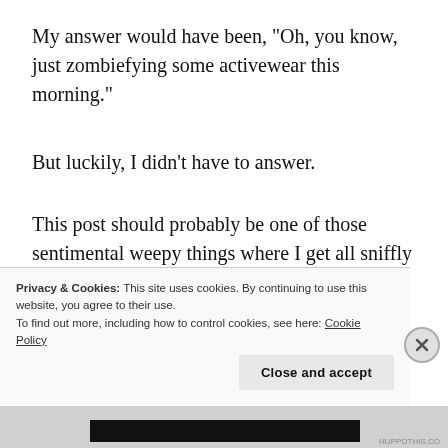My answer would have been, "Oh, you know, just zombiefying some activewear this morning."
But luckily, I didn't have to answer.
This post should probably be one of those sentimental weepy things where I get all sniffly about how becoming a board member is taking my family's journey with the milk bank full circle. After donating for a bit, and then receiving milk for so long, and the fact that without donor milk Ike would have been in even more dire straights than
Privacy & Cookies: This site uses cookies. By continuing to use this website, you agree to their use.
To find out more, including how to control cookies, see here: Cookie Policy
Close and accept